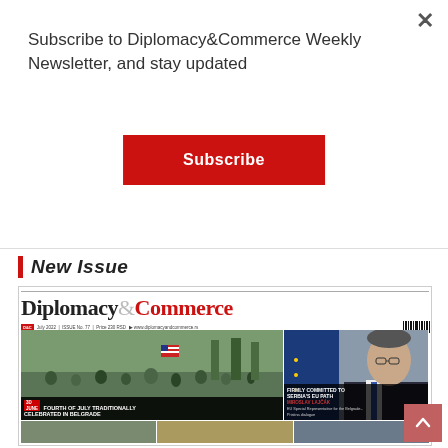Subscribe to Diplomacy&Commerce Weekly Newsletter, and stay updated
Subscribe
New Issue
[Figure (illustration): Magazine cover of Diplomacy&Commerce, July 2022, Issue No. 77. Shows two photos: left photo of a crowd gathered outdoors for Fourth of July celebration in Belgrade, right photo of Miroslav Lajcak, EU Special Representative. Headline text: FOURTH OF JULY TRADITIONALLY CELEBRATED IN BELGRADE (left), FIRMLY COMMITTED TO SERBIA'S EU PATH - MIROSLAV LAJCAK (right). Bottom strip shows additional photos.]